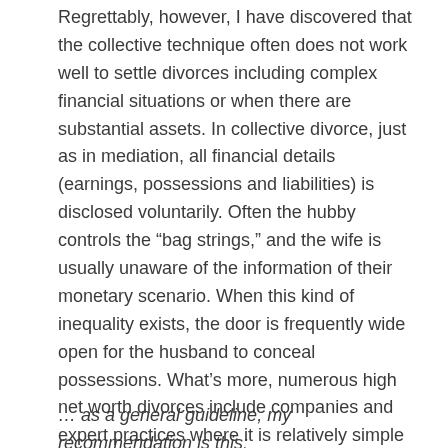Regrettably, however, I have discovered that the collective technique often does not work well to settle divorces including complex financial situations or when there are substantial assets. In collective divorce, just as in mediation, all financial details (earnings, possessions and liabilities) is disclosed voluntarily. Often the hubby controls the “bag strings,” and the wife is usually unaware of the information of their monetary scenario. When this kind of inequality exists, the door is frequently wide open for the husband to conceal possessions. What’s more, numerous high net worth divorces include companies and expert practices where it is relatively simple to conceal possessions and earnings. In addition, the issue of valuation can be rather contentious.
… as a general guideline, my recommendation is this: